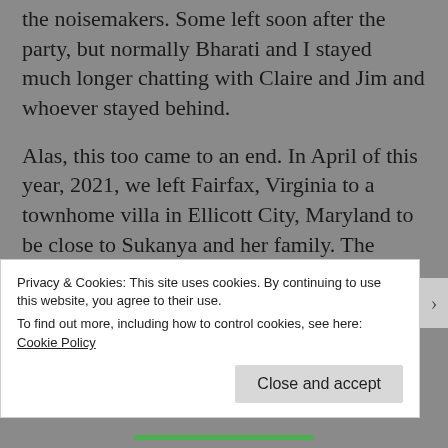the noisemakers. Some left soon after the party, but normally Bharati and I stayed much longer chatting with Claire and Jim and whoever stayed behind.
Alas, this too came to an end. In April of this year, 2021, we left Fairfax, Virginia to a townhome villa in Ellicott City, Maryland to be close to Sukanya and her family. The Covid 19, especially the Omicron virus is so rampant that we were afraid to venture out anywhere. Even the party that Sukanya was supposed to attend was canceled due to the rampant spread of the
Privacy & Cookies: This site uses cookies. By continuing to use this website, you agree to their use.
To find out more, including how to control cookies, see here: Cookie Policy